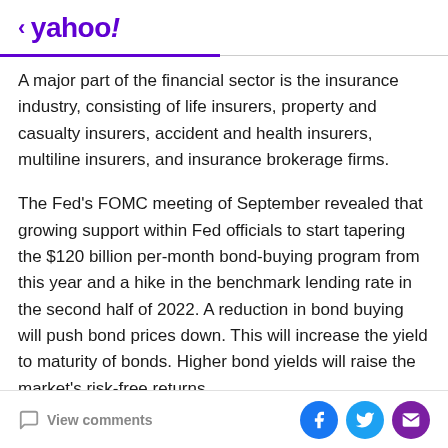< yahoo!
A major part of the financial sector is the insurance industry, consisting of life insurers, property and casualty insurers, accident and health insurers, multiline insurers, and insurance brokerage firms.
The Fed's FOMC meeting of September revealed that growing support within Fed officials to start tapering the $120 billion per-month bond-buying program from this year and a hike in the benchmark lending rate in the second half of 2022. A reduction in bond buying will push bond prices down. This will increase the yield to maturity of bonds. Higher bond yields will raise the market's risk-free returns.
View comments